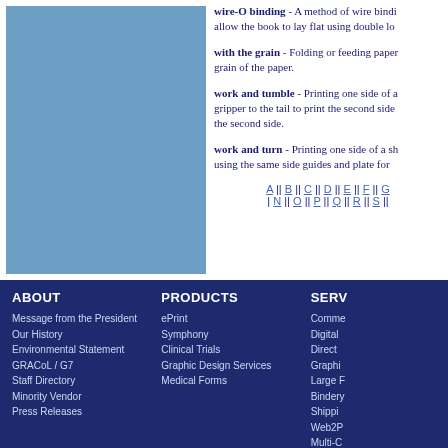wire-O binding - A method of wire binding that allow the book to lay flat using double loo...
with the grain - Folding or feeding paper parallel to the grain of the paper.
work and tumble - Printing one side of a sheet, then turning it from gripper to the tail to print the second side... the second side.
work and turn - Printing one side of a sheet... using the same side guides and plate for...
A || B || C || D || E || F || G | N || O || P || Q || R || S || T
ABOUT
Message from the President
Our History
Environmental Statement
GRACoL / G7
Staff Directory
Minority Vendor
Press Releases
PRODUCTS
ePrint
Symphony
Clinical Trials
Graphic Design Services
Medical Forms
SERV...
Comme...
Digital...
Direct...
Graphi...
Large F...
Bindery...
Shippi...
Web2P...
Multi-C...
Clinica...